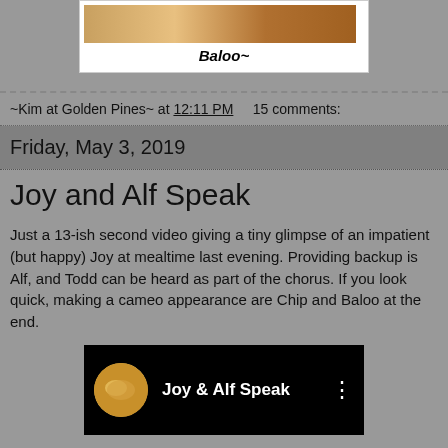[Figure (photo): Photo of Baloo (a golden retriever dog) shown as a cropped image at top]
Baloo~
~Kim at Golden Pines~ at 12:11 PM    15 comments:
Friday, May 3, 2019
Joy and Alf Speak
Just a 13-ish second video giving a tiny glimpse of an impatient (but happy) Joy at mealtime last evening. Providing backup is Alf, and Todd can be heard as part of the chorus. If you look quick, making a cameo appearance are Chip and Baloo at the end.
[Figure (screenshot): Screenshot of a YouTube video thumbnail titled 'Joy & Alf Speak' showing a golden retriever in a circular icon on a black background]